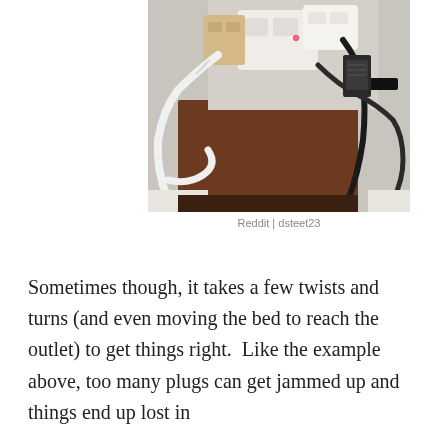[Figure (photo): Photo of electrical outlet with multiple plugs and cables including white USB cable, black power cords, and a power strip or adapter with a small red indicator light, appearing crowded and tangled behind what looks like a bed frame or furniture.]
Reddit | dsteet23
Sometimes though, it takes a few twists and turns (and even moving the bed to reach the outlet) to get things right.  Like the example above, too many plugs can get jammed up and things end up lost in